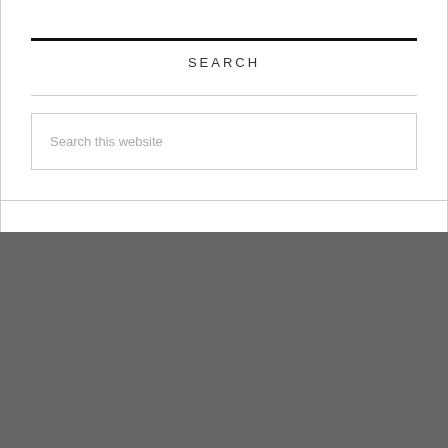SEARCH
[Figure (screenshot): Search input box with placeholder text 'Search this website']
We use cookies to ensure that we give you the best experience on our website.
AGREE & CLOSE
DECLINE